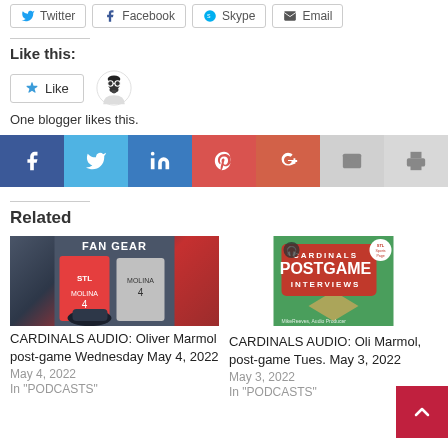[Figure (other): Social share buttons: Twitter, Facebook, Skype, Email]
Like this:
[Figure (other): Like button and blogger avatar. One blogger likes this.]
One blogger likes this.
[Figure (other): Social share bar with Facebook, Twitter, LinkedIn, Pinterest, Google+, Email, Print icons]
Related
[Figure (photo): Cardinals fan gear image showing Molina #4 red and gray jerseys with Cardinals cap]
CARDINALS AUDIO: Oliver Marmol post-game Wednesday May 4, 2022
May 4, 2022
In "PODCASTS"
[Figure (photo): Cardinals Postgame Interviews graphic with baseball diamond background]
CARDINALS AUDIO: Oli Marmol, post-game Tues. May 3, 2022
May 3, 2022
In "PODCASTS"